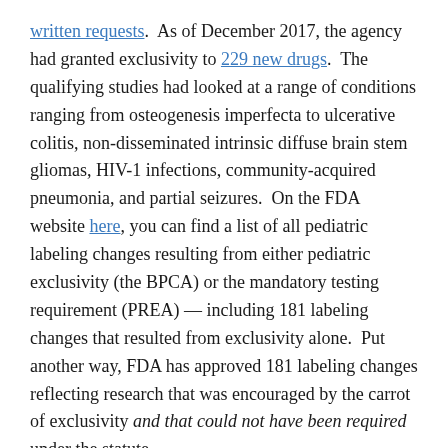written requests.  As of December 2017, the agency had granted exclusivity to 229 new drugs.  The qualifying studies had looked at a range of conditions ranging from osteogenesis imperfecta to ulcerative colitis, non-disseminated intrinsic diffuse brain stem gliomas, HIV-1 infections, community-acquired pneumonia, and partial seizures.  On the FDA website here, you can find a list of all pediatric labeling changes resulting from either pediatric exclusivity (the BPCA) or the mandatory testing requirement (PREA) — including 181 labeling changes that resulted from exclusivity alone.  Put another way, FDA has approved 181 labeling changes reflecting research that was encouraged by the carrot of exclusivity and that could not have been required under the statute.
But, blockbusters?